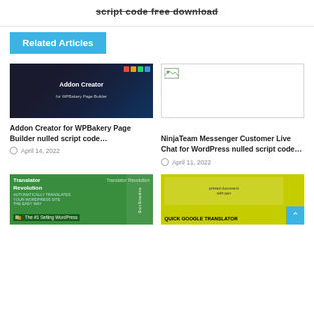script code free download
Related Articles
[Figure (photo): Addon Creator for WPBakery Page Builder promotional image with dark background and colorful blocks]
Addon Creator for WPBakery Page Builder nulled script code…
April 14, 2022
[Figure (photo): Broken/missing image placeholder]
NinjaTeam Messenger Customer Live Chat for WordPress nulled script code…
April 11, 2022
[Figure (photo): Translator Revolution plugin promotional image with green background and phone mockups]
[Figure (photo): Quick Google Translator plugin promotional image with yellow-green background and printed paper]